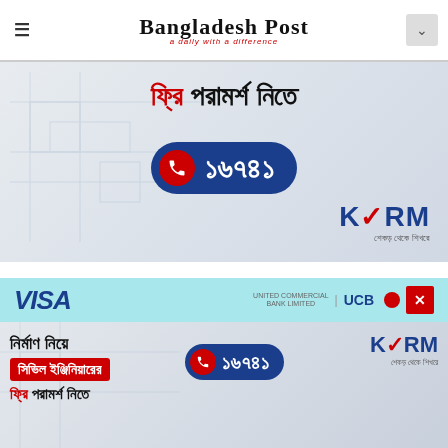Bangladesh Post
[Figure (illustration): KSRM advertisement banner in Bengali: Free consultation text with phone number 16741 on a blueprint background, KSRM brand logo bottom right]
[Figure (illustration): VISA and United Commercial Bank UCB advertisement banner on teal background with a close button]
[Figure (illustration): KSRM advertisement banner showing civil engineering free consultation with phone number 16741 and KSRM brand logo]